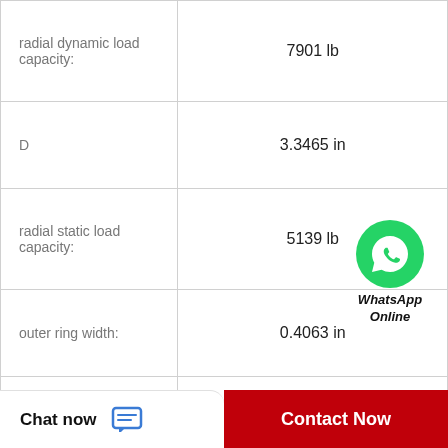| Property | Value |
| --- | --- |
| radial dynamic load capacity: | 7901 lb |
| D | 3.3465 in |
| radial static load capacity: | 5139 lb |
| outer ring width: | 0.4063 in |
| finish/coating: | Black Oxide |
| inner ring width: | 1.9375 in |
| maximum rpm: | 3000 RPM |
| bore type: | Round |
[Figure (logo): WhatsApp green circle logo with phone handset icon, with text 'WhatsApp Online' below]
Chat now
Contact Now